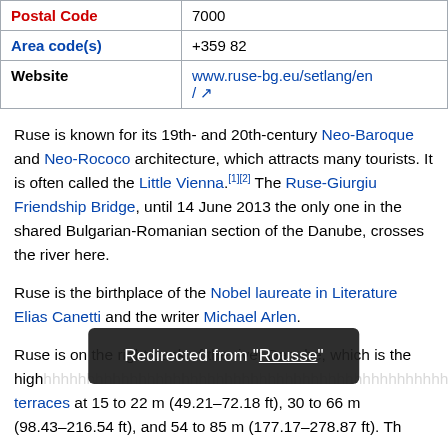| Field | Value |
| --- | --- |
| Postal Code | 7000 |
| Area code(s) | +359 82 |
| Website | www.ruse-bg.eu/setlang/en /↗ |
Ruse is known for its 19th- and 20th-century Neo-Baroque and Neo-Rococo architecture, which attracts many tourists. It is often called the Little Vienna.[1][2] The Ruse-Giurgiu Friendship Bridge, until 14 June 2013 the only one in the shared Bulgarian-Romanian section of the Danube, crosses the river here.
Ruse is the birthplace of the Nobel laureate in Literature Elias Canetti and the writer Michael Arlen.
Ruse is on the right bank of the river Danube, which is the high... river terraces at 15 to 22 m (49.21–72.18 ft); 30 to 66 m (98.43–216.54 ft); and 54 to 85 m (177.17–278.87 ft). Th...
Redirected from "Rousse"